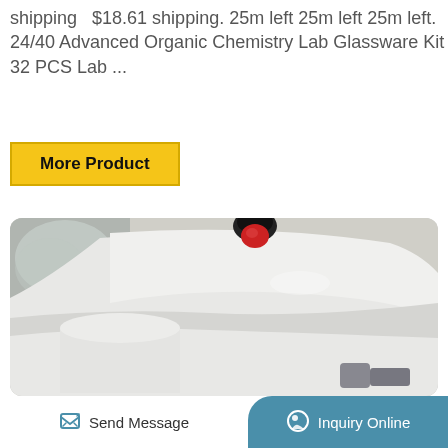shipping   $18.61 shipping. 25m left 25m left 25m left. 24/40 Advanced Organic Chemistry Lab Glassware Kit 32 PCS Lab ...
[Figure (other): Yellow 'More Product' button with black bold text and golden border]
[Figure (photo): Close-up photo of white laboratory/industrial equipment with a black and red knob on top, showing curved white casing and mechanical parts. A 'TOP' navigation button appears in the upper right corner of the image.]
[Figure (other): Bottom navigation bar with 'Send Message' on the left and 'Inquiry Online' button on the right with teal/blue background]